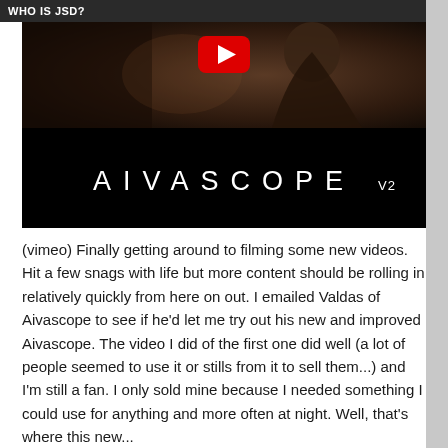WHO IS JSD?
[Figure (screenshot): YouTube/Vimeo video thumbnail showing a woman and the AIVASCOPE V2 title card on a black background, with a YouTube play button overlay.]
(vimeo) Finally getting around to filming some new videos.  Hit a few snags with life but more content should be rolling in relatively quickly from here on out. I emailed Valdas of Aivascope to see if he'd let me try out his new and improved Aivascope. The video I did of the first one did well (a lot of people seemed to use it or stills from it to sell them...) and I'm still a fan. I only sold mine because I needed something I could use for anything and more often at night. Well, that's where this new...